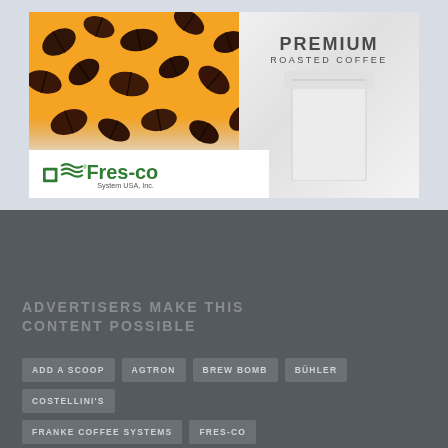[Figure (illustration): Fres-co System USA, Inc. advertisement showing coffee beans on an orange background on the left, a white premium roasted coffee bag on the right, and the Fres-co logo with tagline 'System USA, Inc.' at the bottom left.]
ADVERTISERS MAKE THIS CONTENT POSSIBLE
ADD A SCOOP
AGTRON
BREW BOMB
BÜHLER
COSTELLINI'S
FRANKE COFFEE SYSTEMS
FRES-CO
GENERAL PACKAGING EQUIPMENT
GROUNDS FOR HEALTH